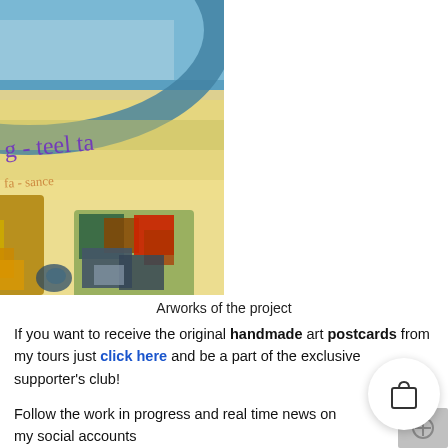[Figure (photo): Close-up photograph of handmade art postcards with thick impasto oil paint strokes in blue, yellow, orange, green, red and black. Purple handwritten text visible on the painting surface.]
Arworks of the project
If you want to receive the original handmade art postcards from my tours just click here and be a part of the exclusive supporter's club!
Follow the work in progress and real time news on my social accounts